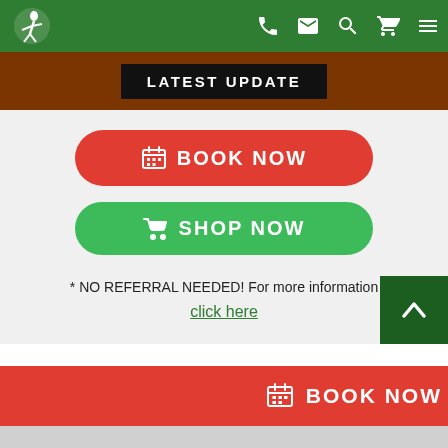Navigation bar with logo and icons (phone, mail, search, cart, menu)
LATEST UPDATE
BOOK NOW
SHOP NOW
* NO REFERRAL NEEDED! For more information click here
BOOK NOW